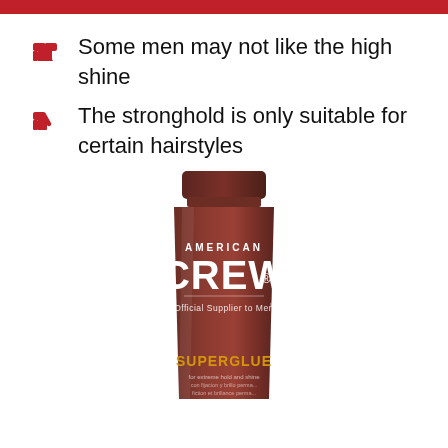Some men may not like the high shine
The stronghold is only suitable for certain hairstyles
[Figure (photo): American Crew Superglue product tube with brown/maroon packaging showing AMERICAN CREW logo, Official Supplier to Men tagline, and SUPERGLUE product name at bottom]